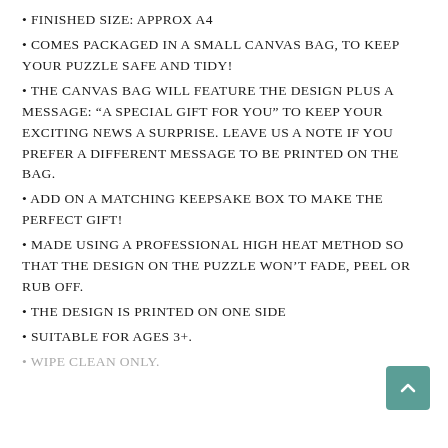• FINISHED SIZE: APPROX A4
• COMES PACKAGED IN A SMALL CANVAS BAG, TO KEEP YOUR PUZZLE SAFE AND TIDY!
• THE CANVAS BAG WILL FEATURE THE DESIGN PLUS A MESSAGE: “A SPECIAL GIFT FOR YOU” TO KEEP YOUR EXCITING NEWS A SURPRISE. LEAVE US A NOTE IF YOU PREFER A DIFFERENT MESSAGE TO BE PRINTED ON THE BAG.
• ADD ON A MATCHING KEEPSAKE BOX TO MAKE THE PERFECT GIFT!
• MADE USING A PROFESSIONAL HIGH HEAT METHOD SO THAT THE DESIGN ON THE PUZZLE WON’T FADE, PEEL OR RUB OFF.
• THE DESIGN IS PRINTED ON ONE SIDE
• SUITABLE FOR AGES 3+.
• WIPE CLEAN ONLY.